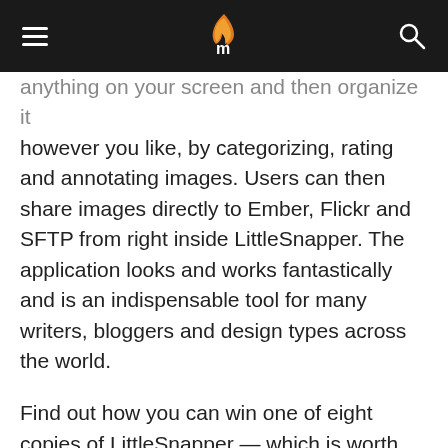[hamburger menu] [logo] [search icon]
anything on your screen and then organize it however you like, by categorizing, rating and annotating images. Users can then share images directly to Ember, Flickr and SFTP from right inside LittleSnapper. The application looks and works fantastically and is an indispensable tool for many writers, bloggers and design types across the world.

Find out how you can win one of eight copies of LittleSnapper — which is worth $29.99 and requires Mac OS X 10.6.6 or later — after the jump.